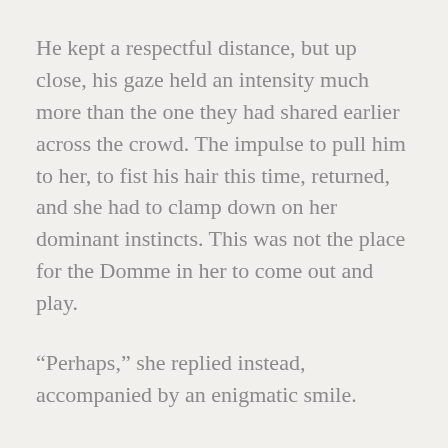He kept a respectful distance, but up close, his gaze held an intensity much more than the one they had shared earlier across the crowd. The impulse to pull him to her, to fist his hair this time, returned, and she had to clamp down on her dominant instincts. This was not the place for the Domme in her to come out and play.
“Perhaps,” she replied instead, accompanied by an enigmatic smile.
He stepped closer, and she quirked a brow in response. This one was bold. She liked it.
“A dance before you go?” He offered her a